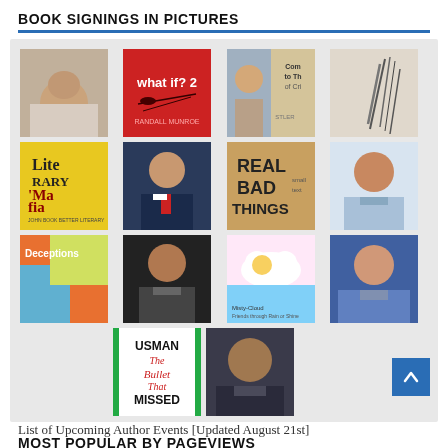BOOK SIGNINGS IN PICTURES
[Figure (photo): A 4-column grid of book covers and author photos including: a woman author photo, 'what if? 2' red cover, a woman author photo, book covers partially visible; 'Literary Mafia' cover, a man in suit author photo, 'REAL BAD THINGS' cover, a man smiling author photo; 'Deceptions' cover, a bald man author photo, 'Misty-Cloud Friends through Rain or Shine' children's book cover, a woman smiling author photo; 'USMAN The Bullet That Missed' cover, a man author photo.]
MOST POPULAR BY PAGEVIEWS
List of Upcoming Author Events [Updated August 21st]